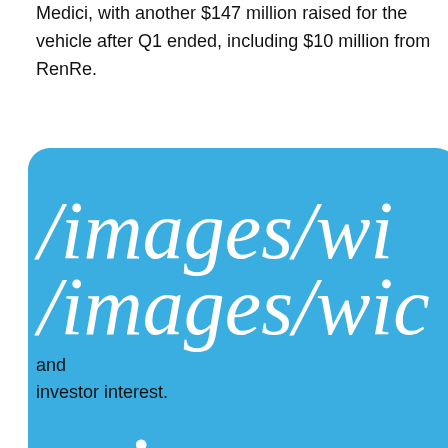Medici, with another $147 million raised for the vehicle after Q1 ended, including $10 million from RenRe.
Se[ction text partially obscured by image]
[Figure (other): A broken image placeholder showing the path /images/wic... icon.svg on a blue rounded rectangle background]
and investor interest.
[partial line of text at bottom of page]